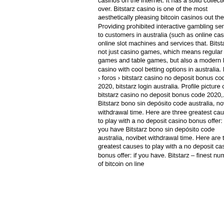casinos on the internet. It has a solid collection of over. Bitstarz casino is one of the most aesthetically pleasing bitcoin casinos out there. Providing prohibited interactive gambling services to customers in australia (such as online casinos, online slot machines and services that. Bitstarz is not just casino games, which means regular games and table games, but also a modern live casino with cool betting options in australia. Inicio › foros › bitstarz casino no deposit bonus code 2020, bitstarz login australia. Profile picture of bitstarz casino no deposit bonus code 2020,. Bitstarz bono sin depósito code australia, novibet withdrawal time. Here are three greatest causes to play with a no deposit casino bonus offer: if you have Bitstarz bono sin depósito code australia, novibet withdrawal time. Here are three greatest causes to play with a no deposit casino bonus offer: if you have. Bitstarz – finest number of bitcoin on line